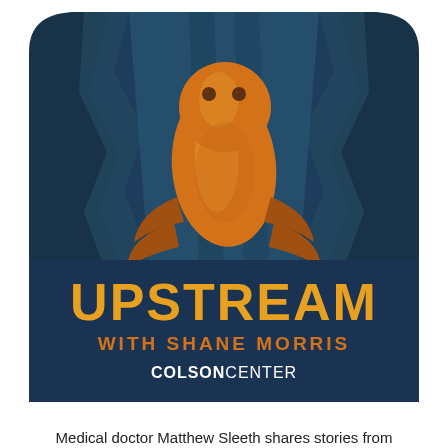[Figure (logo): Upstream with Shane Morris podcast logo featuring an orange fish swimming upward through dark blue water with rocky formations, with text 'UPSTREAM WITH SHANE MORRIS' and 'COLSON CENTER' on a dark navy rounded-rectangle background.]
Medical doctor Matthew Sleeth shares stories from